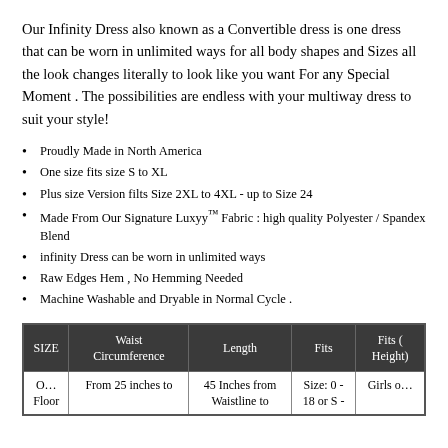Our Infinity Dress also known as a Convertible dress is one dress that can be worn in unlimited ways for all body shapes and Sizes all the look changes literally to look like you want For any Special Moment . The possibilities are endless with your multiway dress to suit your style!
Proudly Made in North America
One size fits size S to XL
Plus size Version filts Size 2XL to 4XL - up to Size 24
Made From Our Signature Luxyy™ Fabric : high quality Polyester / Spandex Blend
infinity Dress can be worn in unlimited ways
Raw Edges Hem , No Hemming Needed
Machine Washable and Dryable in Normal Cycle .
| SIZE | Waist Circumference | Length | Fits | Fits ( Height) |
| --- | --- | --- | --- | --- |
| O… Floor | From 25 inches to | 45 Inches from Waistline to | Size: 0 - 18 or S - | Girls o… |